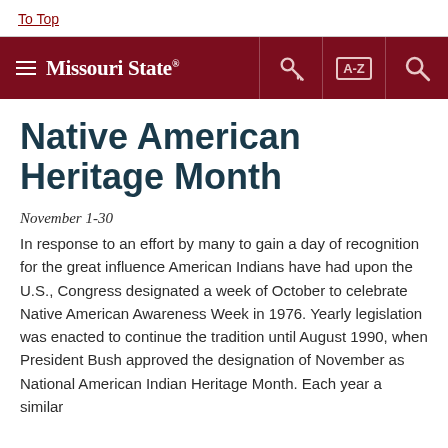To Top
Missouri State [navigation bar with hamburger menu, key icon, A-Z index, and search icon]
Native American Heritage Month
November 1-30
In response to an effort by many to gain a day of recognition for the great influence American Indians have had upon the U.S., Congress designated a week of October to celebrate Native American Awareness Week in 1976. Yearly legislation was enacted to continue the tradition until August 1990, when President Bush approved the designation of November as National American Indian Heritage Month. Each year a similar